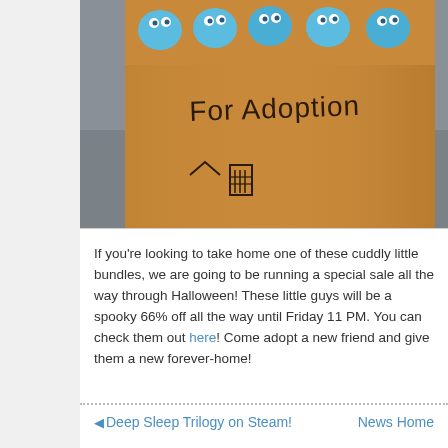[Figure (photo): A cardboard box labeled 'For Adoption' filled with small blue cartoon creature figures, sitting on a grey surface. The box has a small house drawn on the front.]
If you're looking to take home one of these cuddly little bundles, we are going to be running a special sale all the way through Halloween! These little guys will be a spooky 66% off all the way until Friday 11 PM. You can check them out here! Come adopt a new friend and give them a new forever-home!
◄ Deep Sleep Trilogy on Steam!    News Home